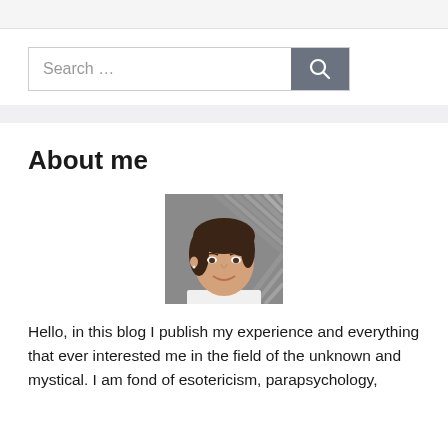[Figure (other): Search bar with text input field showing 'Search ...' placeholder and a dark gray search button with magnifying glass icon]
About me
[Figure (photo): Portrait photo of a young woman with dark brown hair, smiling, in front of a gray background]
Hello, in this blog I publish my experience and everything that ever interested me in the field of the unknown and mystical. I am fond of esotericism, parapsychology,